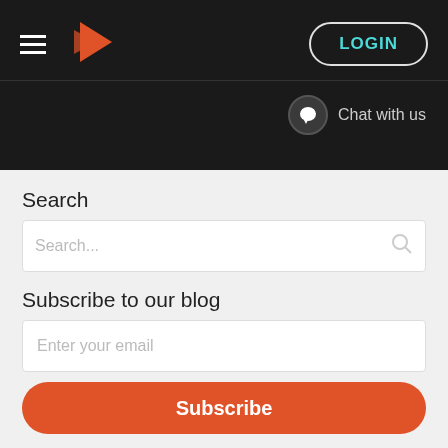Navigation header with hamburger menu, G logo, LOGIN button, and Chat with us
Search
Search...
Subscribe to our blog
Enter your email
Subscribe
Categories